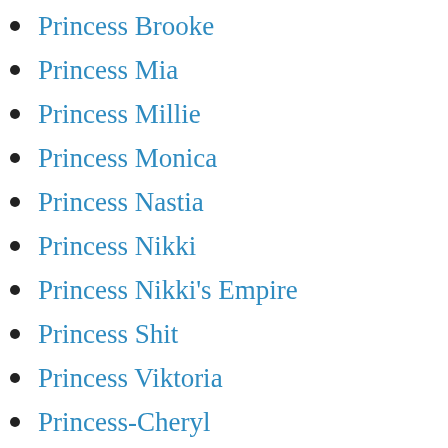Princess Brooke
Princess Mia
Princess Millie
Princess Monica
Princess Nastia
Princess Nikki
Princess Nikki's Empire
Princess Shit
Princess Viktoria
Princess-Cheryl
PrincessMonica
PrincessNikki
princessnikkicruel.com
PrincessPoo
Prison
Prison Guard
Private Poo